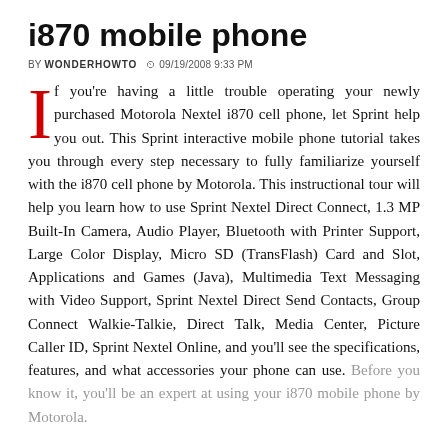i870 mobile phone
BY WONDERHOWTO  09/19/2008 9:33 PM
If you're having a little trouble operating your newly purchased Motorola Nextel i870 cell phone, let Sprint help you out. This Sprint interactive mobile phone tutorial takes you through every step necessary to fully familiarize yourself with the i870 cell phone by Motorola. This instructional tour will help you learn how to use Sprint Nextel Direct Connect, 1.3 MP Built-In Camera, Audio Player, Bluetooth with Printer Support, Large Color Display, Micro SD (TransFlash) Card and Slot, Applications and Games (Java), Multimedia Text Messaging with Video Support, Sprint Nextel Direct Send Contacts, Group Connect Walkie-Talkie, Direct Talk, Media Center, Picture Caller ID, Sprint Nextel Online, and you'll see the specifications, features, and what accessories your phone can use. Before you know it, you'll be an expert at using your i870 mobile phone by Motorola.